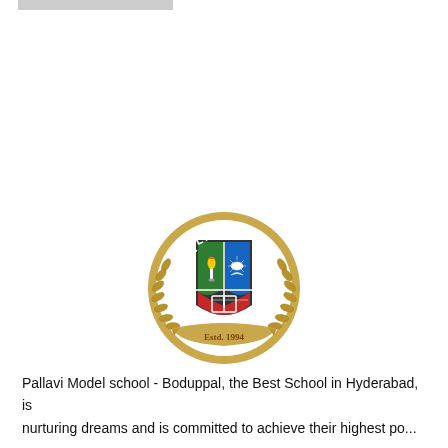[Figure (logo): Pallavi Model School crest/logo: circular emblem with laurel wreath border, shield divided into three sections (green with torch top-left, blue with sunburst top-right, red with open book bottom), text 'PALLAVI' at top arc, 'MODEL' on left arc, 'SCHOOL' on right arc, gold banner at bottom reading 'Estd. 1994']
Pallavi Model school - Boduppal, the Best School in Hyderabad, is nurturing dreams and is committed to achieve their highest po...